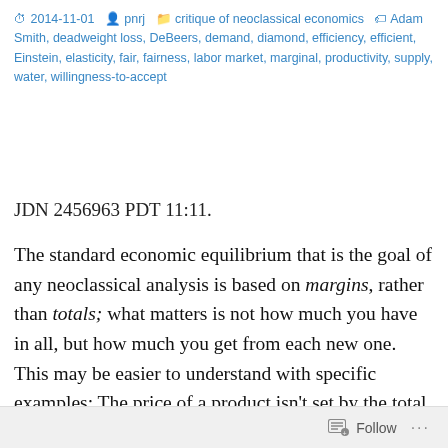2014-11-01  pnrj  critique of neoclassical economics  Adam Smith, deadweight loss, DeBeers, demand, diamond, efficiency, efficient, Einstein, elasticity, fair, fairness, labor market, marginal, productivity, supply, water, willingness-to-accept
JDN 2456963 PDT 11:11.
The standard economic equilibrium that is the goal of any neoclassical analysis is based on margins, rather than totals; what matters is not how much you have in all, but how much you get from each new one. This may be easier to understand with specific examples: The price of a product isn't set by the total utility that you get from using that product; it's set by the
Follow ...